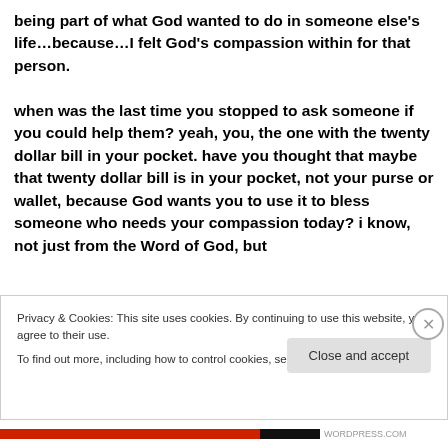being part of what God wanted to do in someone else's life…because…I felt God's compassion within for that person.

when was the last time you stopped to ask someone if you could help them? yeah, you, the one with the twenty dollar bill in your pocket. have you thought that maybe that twenty dollar bill is in your pocket, not your purse or wallet, because God wants you to use it to bless someone who needs your compassion today? i know, not just from the Word of God, but
Privacy & Cookies: This site uses cookies. By continuing to use this website, you agree to their use.
To find out more, including how to control cookies, see here: Cookie Policy